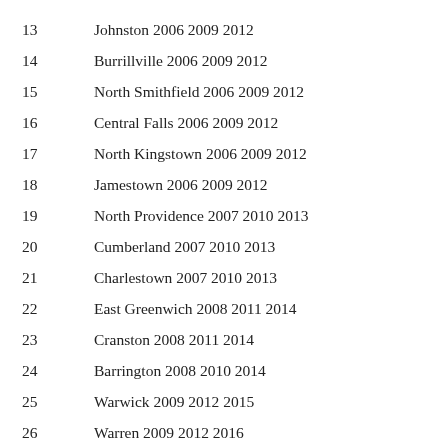13    Johnston 2006 2009 2012
14    Burrillville 2006 2009 2012
15    North Smithfield 2006 2009 2012
16    Central Falls 2006 2009 2012
17    North Kingstown 2006 2009 2012
18    Jamestown 2006 2009 2012
19    North Providence 2007 2010 2013
20    Cumberland 2007 2010 2013
21    Charlestown 2007 2010 2013
22    East Greenwich 2008 2011 2014
23    Cranston 2008 2011 2014
24    Barrington 2008 2010 2014
25    Warwick 2009 2012 2015
26    Warren 2009 2012 2016